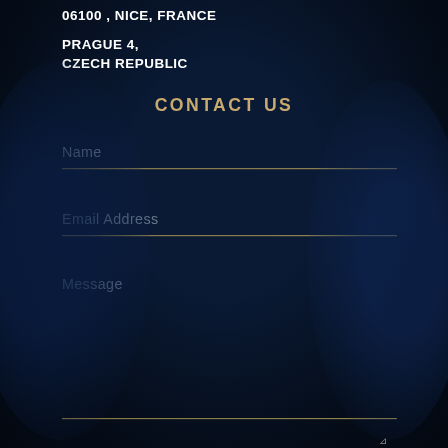06100 , NICE, FRANCE
PRAGUE 4,
CZECH REPUBLIC
CONTACT US
Name
Email Address
Message